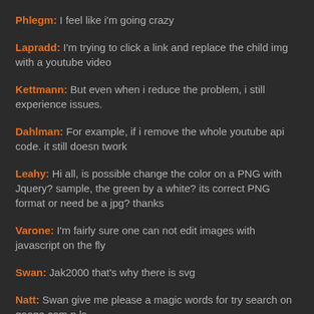Phlegm: I feel like i'm going crazy
Lapradd: I'm trying to click a link and replace the child img with a youtube video
Kettmann: But even when i reduce the problem, i still experience issues.
Dahlman: For example, if i remove the whole youtube api code. it still doesn twork
Leahy: Hi all, is possible change the color on a PNG with Jquery? sample, the green by a white? its correct PNG format or need be a jpg? thanks
Varone: I'm fairly sure one can not edit images with javascript on the fly
Swan: Jak2000 that's why there is svg
Natt: Swan give me please a magic words for try search on googe.com p.ls